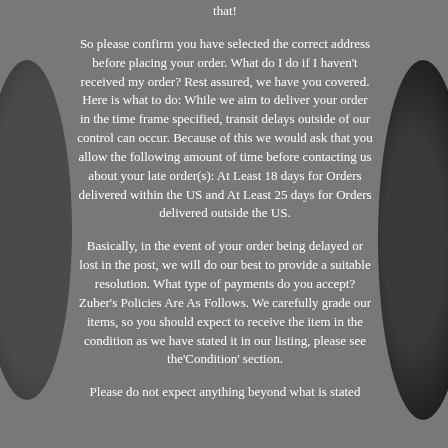that!
So please confirm you have selected the correct address before placing your order. What do I do if I haven't received my order? Rest assured, we have you covered. Here is what to do: While we aim to deliver your order in the time frame specified, transit delays outside of our control can occur. Because of this we would ask that you allow the following amount of time before contacting us about your late order(s): At Least 18 days for Orders delivered within the US and At Least 25 days for Orders delivered outside the US.
Basically, in the event of your order being delayed or lost in the post, we will do our best to provide a suitable resolution. What type of payments do you accept? Zuber's Policies Are As Follows. We carefully grade our items, so you should expect to receive the item in the condition as we have stated it in our listing, please see the'Condition' section.
Please do not expect anything beyond what is stated